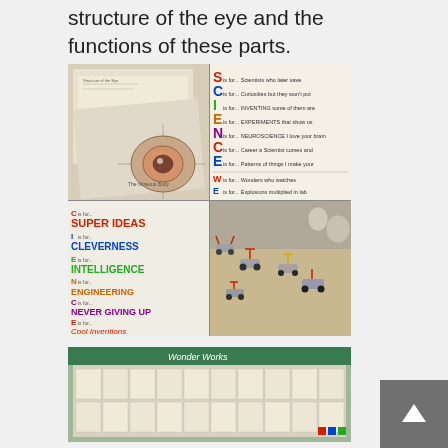structure of the eye and the functions of these parts.
[Figure (photo): A 2x2 collage of four photos: top-left shows worksheets about the structure of the eye with a diagram of 'The Vitreous Body'; top-right shows a handwritten SCIENCE acrostic poem; bottom-left shows another SCIENCE acrostic with colorful text (SUPER IDEAS, CLEVERNESS, INTELLIGENCE, ENGINEERING, NEVER GIVING UP, Cool Inventions, Experiments, Whats your hypothesis, Exploding Tests, Eerie results); bottom-right shows small toy cars/vehicles made from cardboard rolls and sticks on a wooden surface.]
[Figure (photo): Photo of a classroom display board covered with many student worksheets and papers, with a green banner/header visible at the top.]